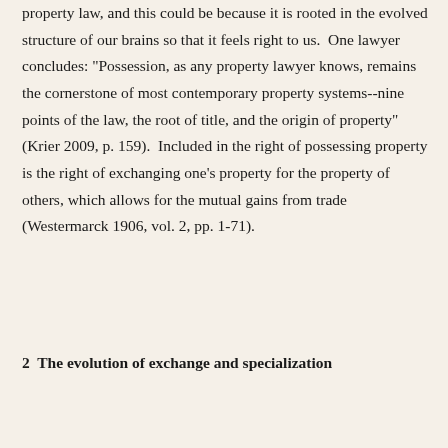property law, and this could be because it is rooted in the evolved structure of our brains so that it feels right to us.  One lawyer concludes: "Possession, as any property lawyer knows, remains the cornerstone of most contemporary property systems--nine points of the law, the root of title, and the origin of property" (Krier 2009, p. 159).  Included in the right of possessing property is the right of exchanging one's property for the property of others, which allows for the mutual gains from trade (Westermarck 1906, vol. 2, pp. 1-71).
2  The evolution of exchange and specialization